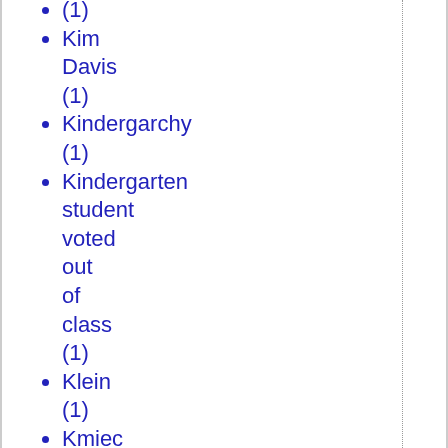(1)
Kim Davis (1)
Kindergarchy (1)
Kindergarten student voted out of class (1)
Klein (1)
Kmiec (2)
Knights of Malta (2)
Kobe Bryant (1)
Kosovo